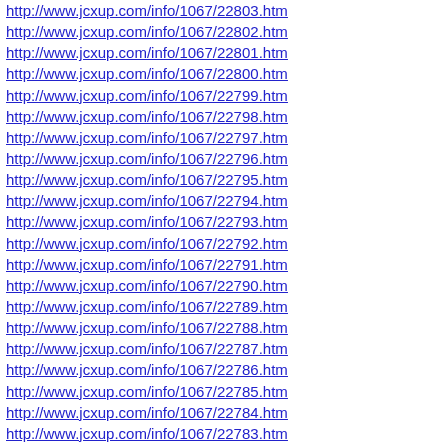http://www.jcxup.com/info/1067/22803.htm
http://www.jcxup.com/info/1067/22802.htm
http://www.jcxup.com/info/1067/22801.htm
http://www.jcxup.com/info/1067/22800.htm
http://www.jcxup.com/info/1067/22799.htm
http://www.jcxup.com/info/1067/22798.htm
http://www.jcxup.com/info/1067/22797.htm
http://www.jcxup.com/info/1067/22796.htm
http://www.jcxup.com/info/1067/22795.htm
http://www.jcxup.com/info/1067/22794.htm
http://www.jcxup.com/info/1067/22793.htm
http://www.jcxup.com/info/1067/22792.htm
http://www.jcxup.com/info/1067/22791.htm
http://www.jcxup.com/info/1067/22790.htm
http://www.jcxup.com/info/1067/22789.htm
http://www.jcxup.com/info/1067/22788.htm
http://www.jcxup.com/info/1067/22787.htm
http://www.jcxup.com/info/1067/22786.htm
http://www.jcxup.com/info/1067/22785.htm
http://www.jcxup.com/info/1067/22784.htm
http://www.jcxup.com/info/1067/22783.htm
http://www.jcxup.com/info/1067/22782.htm
http://www.jcxup.com/info/1067/22781.htm
http://www.jcxup.com/info/1067/22777.htm
http://www.jcxup.com/info/1067/22773.htm
http://www.jcxup.com/info/1059/11665.htm